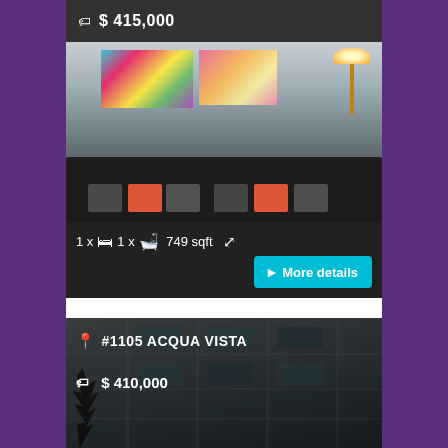$ 415,000
[Figure (photo): Interior living room photo with dark sofa with orange pillows and colorful wall art]
1 x 🛏 1 x 🛁 749 sqft
More details
#1105 ACQUA VISTA
$ 410,000
[Figure (photo): Exterior photo of a modern apartment building with glass balconies and white facade]